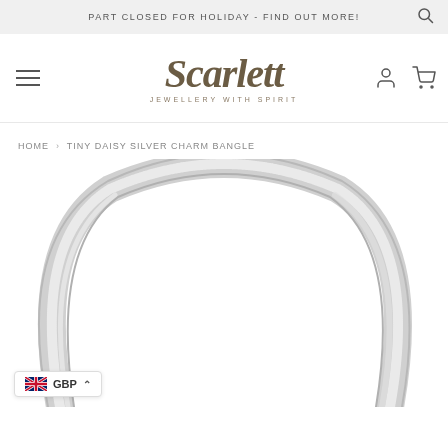PART CLOSED FOR HOLIDAY - FIND OUT MORE!
[Figure (logo): Scarlett Jewellery With Spirit logo - decorative serif italic script]
HOME › TINY DAISY SILVER CHARM BANGLE
[Figure (photo): Close-up photo of a silver bangle/bracelet on white background - only the curved silver ring visible, cropped]
GBP